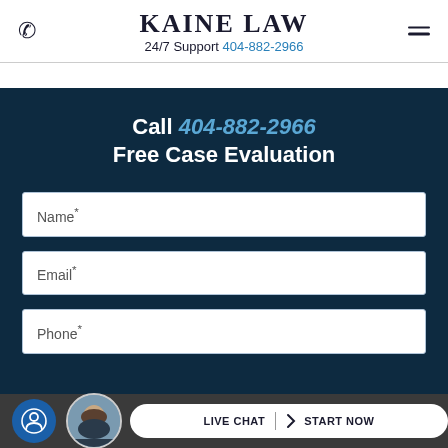KAINE LAW — 24/7 Support 404-882-2966
Call 404-882-2966
Free Case Evaluation
Name*
Email*
Phone*
LIVE CHAT  START NOW